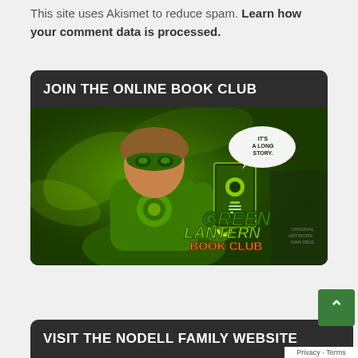This site uses Akismet to reduce spam. Learn how your comment data is processed.
JOIN THE ONLINE BOOK CLUB
[Figure (illustration): Green Lantern Book Club banner image showing Green Lantern superhero character holding a Green Lantern comic book with speech bubble saying 'It's a long story', with Green Lantern Book Club logo text and 'Original Artwork: Ivan Reis' credit]
VISIT THE NODELL FAMILY WEBSITE